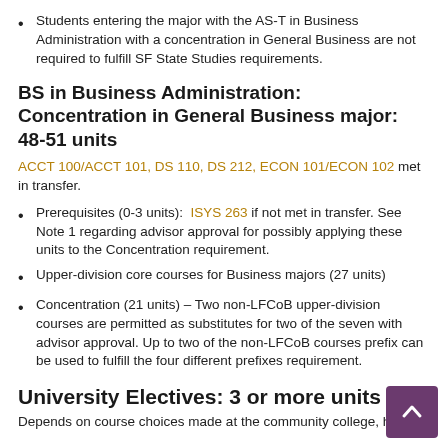Students entering the major with the AS-T in Business Administration with a concentration in General Business are not required to fulfill SF State Studies requirements.
BS in Business Administration: Concentration in General Business major:  48-51 units
ACCT 100/ACCT 101, DS 110, DS 212, ECON 101/ECON 102 met in transfer.
Prerequisites (0-3 units):  ISYS 263 if not met in transfer. See Note 1 regarding advisor approval for possibly applying these units to the Concentration requirement.
Upper-division core courses for Business majors (27 units)
Concentration (21 units) – Two non-LFCoB upper-division courses are permitted as substitutes for two of the seven with advisor approval. Up to two of the non-LFCoB courses prefix can be used to fulfill the four different prefixes requirement.
University Electives: 3 or more units
Depends on course choices made at the community college, how